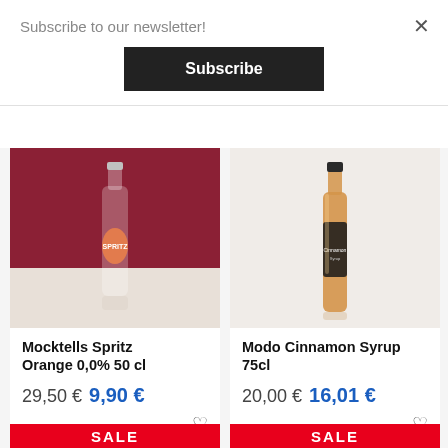Subscribe to our newsletter!
Subscribe
[Figure (photo): Mocktells Spritz bottle with red/berry design on dark red background]
Mocktells Spritz Orange 0,0% 50 cl
29,50 € 9,90 €
SALE
[Figure (photo): Modo Cinnamon Syrup tall amber bottle on light background]
Modo Cinnamon Syrup 75cl
20,00 € 16,01 €
SALE